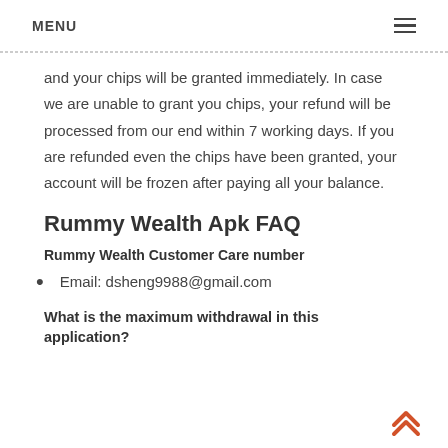MENU ≡
and your chips will be granted immediately. In case we are unable to grant you chips, your refund will be processed from our end within 7 working days. If you are refunded even the chips have been granted, your account will be frozen after paying all your balance.
Rummy Wealth Apk FAQ
Rummy Wealth Customer Care number
Email: dsheng9988@gmail.com
What is the maximum withdrawal in this application?